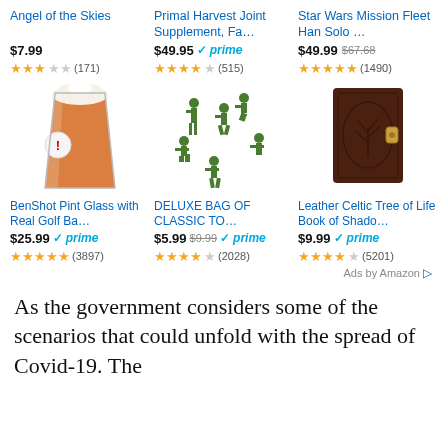[Figure (screenshot): Amazon ad grid with 6 products in 2 rows of 3. Row 1: Angel of the Skies ($7.99, 2.5 stars, 171 reviews), Primal Harvest Joint Supplement Fa... ($49.95 prime, 4.5 stars, 515 reviews), Star Wars Mission Fleet Han Solo... ($49.99 was $67.68, 4.5 stars, 1490 reviews). Row 2: BenShot Pint Glass with Real Golf Ba... ($25.99 prime, 5 stars, 3897 reviews), DELUXE BAG OF CLASSIC TO... ($5.99 was $9.99 prime, 4 stars, 2028 reviews), Leather Celtic Tree of Life Book of Shado... ($9.99 prime, 4 stars, 5201 reviews). Ads by Amazon label at bottom right.]
As the government considers some of the scenarios that could unfold with the spread of Covid-19. The